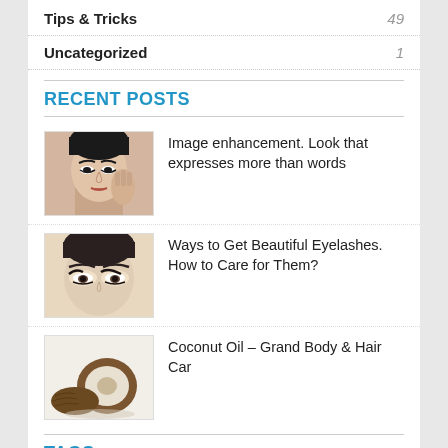Tips & Tricks   49
Uncategorized   1
RECENT POSTS
Image enhancement. Look that expresses more than words
Ways to Get Beautiful Eyelashes. How to Care for Them?
Coconut Oil – Grand Body & Hair Car
TAGS
beauty
Beauty Blender